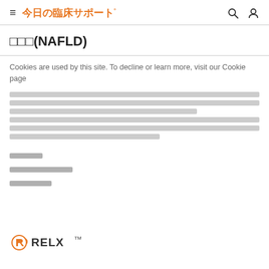≡ 今日の臨床サポート°  🔍  👤
□□□(NAFLD)
Cookies are used by this site. To decline or learn more, visit our Cookie page
[Redacted Japanese body text paragraphs]
[Redacted Japanese section link 1]
[Redacted Japanese section link 2]
[Redacted Japanese section link 3]
[Figure (logo): RELX logo - orange R symbol with RELX text and TM superscript]